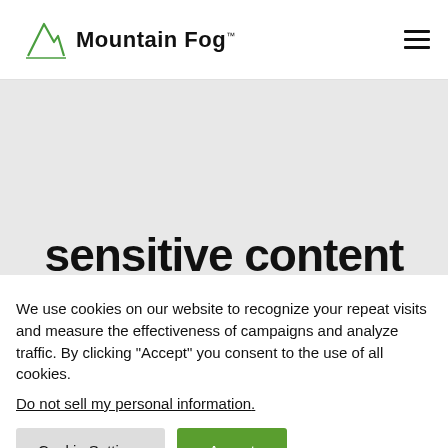[Figure (logo): Mountain Fog logo with a green mountain/triangle line art icon and bold text 'Mountain Fog' with TM superscript]
[Figure (other): Hamburger menu icon (three horizontal lines) in top right corner]
[Figure (other): Gray hero/banner area placeholder]
sensitive content
We use cookies on our website to recognize your repeat visits and measure the effectiveness of campaigns and analyze traffic. By clicking "Accept" you consent to the use of all cookies.
Do not sell my personal information.
Cookie Settings
Accept